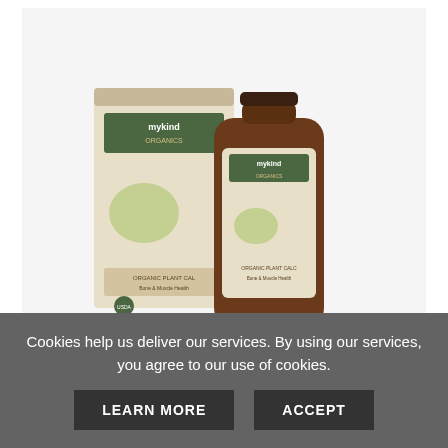[Figure (photo): Garden of Life mykind Organics product photo showing a box and bottle of Organic Plant Calcium supplement with fruit imagery on label]
Garden of Life mykind Organic Plant Calc...
from $27.99
[Figure (other): Five gold/orange star rating icons]
VIEW
ADD TO CART
Cookies help us deliver our services. By using our services, you agree to our use of cookies.
LEARN MORE
ACCEPT